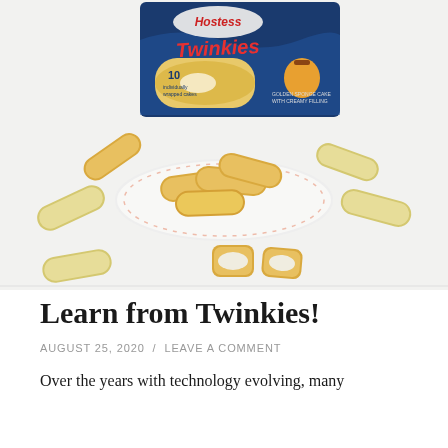[Figure (photo): Photograph of Hostess Twinkies: a box of Twinkies in the background showing the brand logo with '10 individually wrapped cakes' label, and multiple Twinkies snack cakes arranged on a white plate and scattered around it, some still in their clear plastic wrappers, one cut open showing the cream filling, all on a white background.]
Learn from Twinkies!
AUGUST 25, 2020 / LEAVE A COMMENT
Over the years with technology evolving, many